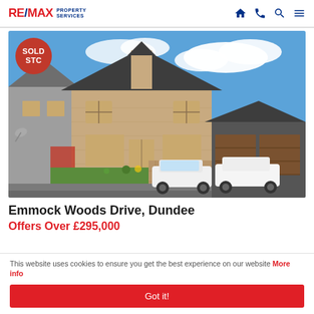RE/MAX PROPERTY SERVICES
[Figure (photo): Exterior photo of a detached two-storey stone and render house with a pitched roof, two white cars parked on a block-paved driveway, a garage to the right, green lawn and garden in front. Blue sky with clouds. A red circular 'SOLD STC' badge is overlaid in the top-left corner.]
Emmock Woods Drive, Dundee
Offers Over £295,000
This website uses cookies to ensure you get the best experience on our website More info
Got it!